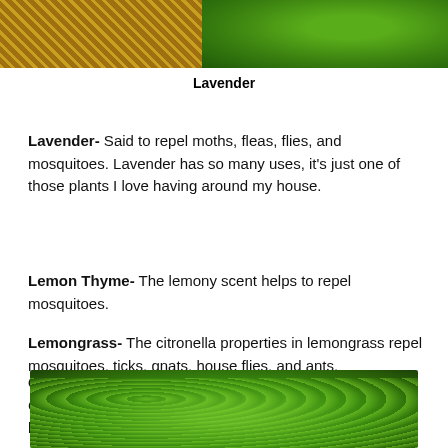[Figure (photo): Photo of lavender plants with dried golden grass on the left side and green leafy plants on the right side]
Lavender
Lavender- Said to repel moths, fleas, flies, and mosquitoes. Lavender has so many uses, it's just one of those plants I love having around my house.
Lemon Thyme- The lemony scent helps to repel mosquitoes.
Lemongrass- The citronella properties in lemongrass repel mosquitoes, ticks, gnats, house flies, and ants.
Chrysanthemums- According to wikipedia, Chrysanthemum flowers repel: roaches, fleas, ticks, bedbugs, lice, silverfish, ants, and so much more!
[Figure (photo): Photo of green chrysanthemum plants with leafy foliage]